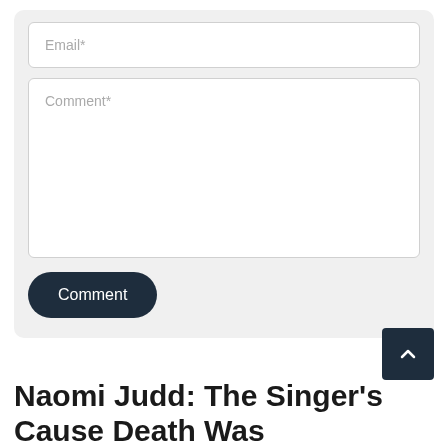[Figure (screenshot): Web form with Email* input field, Comment* textarea, and a dark rounded Comment submit button, all on a light gray background.]
Naomi Judd: The Singer's Cause Death Was Determined Through Autopsy